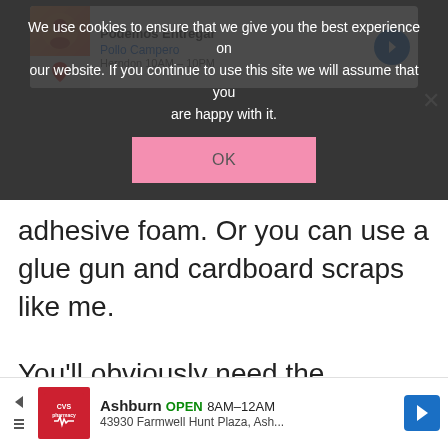[Figure (screenshot): Cookie consent overlay on a dark background with ad card showing 'Podemos Entregar' and 'Pollo Campero, Herndon 10AM - 10PM'. Cookie banner text: 'We use cookies to ensure that we give you the best experience on our website. If you continue to use this site we will assume that you are happy with it.' with an OK button.]
Next, you'll n[eed double-]sided adhesive foam. Or you can use a glue gun and cardboard scraps like me.
You'll obviously need the mermaid art SVG from the Design Space library and I'm gonna show y[ou]...
[Figure (screenshot): Bottom advertisement bar for CVS Pharmacy in Ashburn. Shows CVS logo, 'Ashburn OPEN 8AM-12AM', '43930 Farmwell Hunt Plaza, Ash...' with navigation arrows and a blue directions button.]